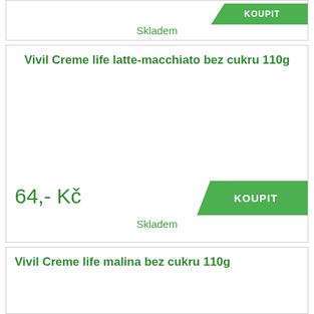Skladem
Vivil Creme life latte-macchiato bez cukru 110g
64,- Kč
KOUPIT
Skladem
Vivil Creme life malina bez cukru 110g